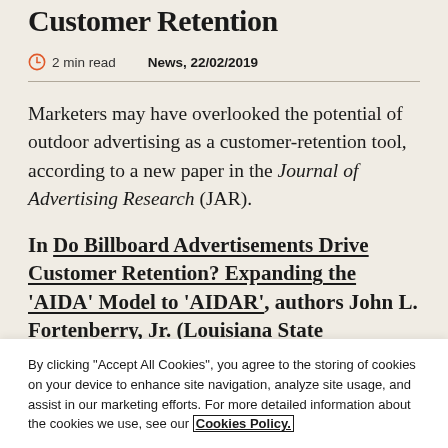Customer Retention
2 min read   News, 22/02/2019
Marketers may have overlooked the potential of outdoor advertising as a customer-retention tool, according to a new paper in the Journal of Advertising Research (JAR).
In Do Billboard Advertisements Drive Customer Retention? Expanding the ‘AIDA’ Model to ‘AIDAR’, authors John L. Fortenberry, Jr. (Louisiana State
By clicking “Accept All Cookies”, you agree to the storing of cookies on your device to enhance site navigation, analyze site usage, and assist in our marketing efforts. For more detailed information about the cookies we use, see our Cookies Policy.